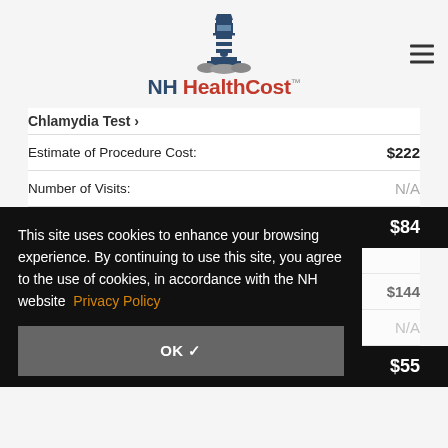[Figure (logo): NH HealthCost lighthouse logo with text]
Chlamydia Test >
|  |  |
| --- | --- |
| Estimate of Procedure Cost: | $222 |
| Number of Visits: | N/A |
What You Will Pay: $84
This site uses cookies to enhance your browsing experience. By continuing to use this site, you agree to the use of cookies, in accordance with the NH website Privacy Policy
OK ✓
Chlamydia Test, Alpha And... (partially visible)
Estimate of Procedure Cost: $144
N/A
What You Will Pay: $55